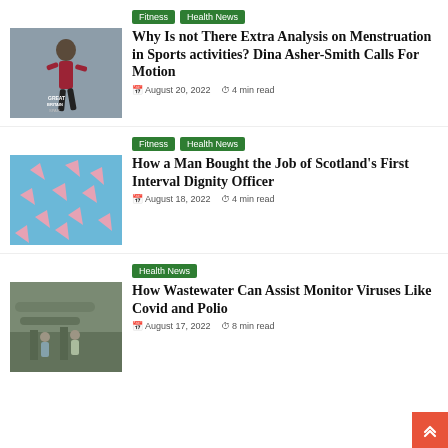[Figure (photo): Athlete Dina Asher-Smith wearing Great Britain SPAR vest, running]
Fitness | Health News
Why Is not There Extra Analysis on Menstruation in Sports activities? Dina Asher-Smith Calls For Motion
August 20, 2022 · 4 min read
[Figure (photo): Pink menstrual cup shapes scattered on a blue background]
Fitness | Health News
How a Man Bought the Job of Scotland's First Interval Dignity Officer
August 18, 2022 · 4 min read
[Figure (photo): Industrial wastewater facility with pipes and workers]
Health News
How Wastewater Can Assist Monitor Viruses Like Covid and Polio
August 17, 2022 · 8 min read